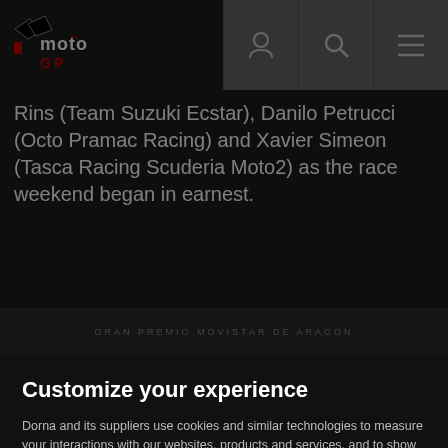MotoGP - navigation header with logo and icons
Rins (Team Suzuki Ecstar), Danilo Petrucci (Octo Pramac Racing) and Xavier Simeon (Tasca Racing Scuderia Moto2) as the race weekend began in earnest.
[Figure (screenshot): Dark image strip with text GRAN PREMIO MOVISTAR DE ARAGON]
Customize your experience
Dorna and its suppliers use cookies and similar technologies to measure your interactions with our websites, products and services, and to show you personalized advertising based on a profile made from your browsing habits (for example, pages viewed by you). By clicking “Enable all”, you agree to the storing of our cookies on your device for those purposes. By clicking “Customize” you can choose which categories of cookies you prefer to enable or refuse, and you can also choose to refuse them all. You can always check our Cookies Policy for further information. Cookie Policy
Customize / Refuse
Enable all